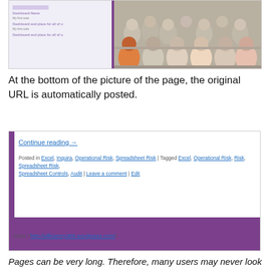[Figure (screenshot): Screenshot showing a webpage with a left panel UI (purple accent bar, text rows) and a photo of a classroom/conference room audience on the right]
At the bottom of the picture of the page, the original URL is automatically posted.
[Figure (screenshot): Screenshot of a blog post footer showing 'Continue reading →' link, 'Posted in Excel, Inquira, Operational Risk, Spreadsheet Risk | Tagged Excel, Operational Risk, Risk, Spreadsheet Risk, Spreadsheet Controls, Audit | Leave a comment | Edit' and a purple bottom bar. Below the box: From <http://efficiency365.wordpress.com/>]
Pages can be very long. Therefore, many users may never look at the bottom of the page to notice that the original URL is available. Logically, the link should be either in the beginning or the page itself should be the link. I have already